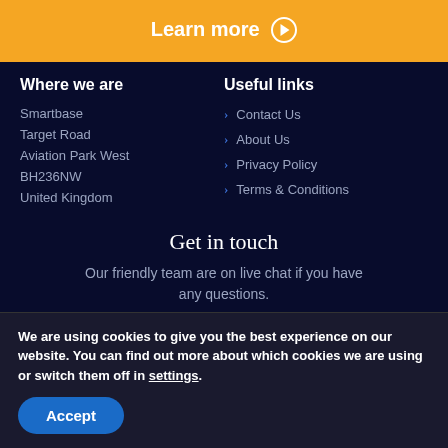Learn more ▶
Where we are
Useful links
Smartbase
Target Road
Aviation Park West
BH236NW
United Kingdom
Contact Us
About Us
Privacy Policy
Terms & Conditions
Get in touch
Our friendly team are on live chat if you have any questions.
joinus@thetravelfranchise.com
We are using cookies to give you the best experience on our website. You can find out more about which cookies we are using or switch them off in settings.